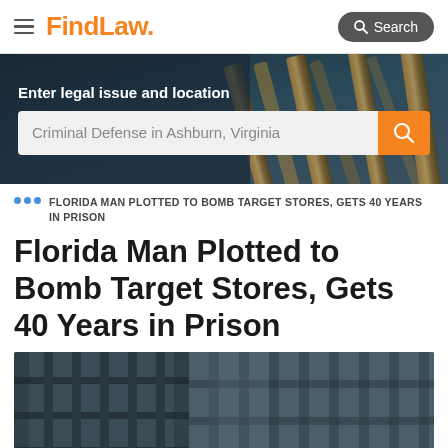FindLaw
[Figure (screenshot): FindLaw website header with logo and search button]
Enter legal issue and location
Criminal Defense in Ashburn, Virginia
FLORIDA MAN PLOTTED TO BOMB TARGET STORES, GETS 40 YEARS IN PRISON
Florida Man Plotted to Bomb Target Stores, Gets 40 Years in Prison
[Figure (photo): Prison bars photo showing jail cell bars from inside]